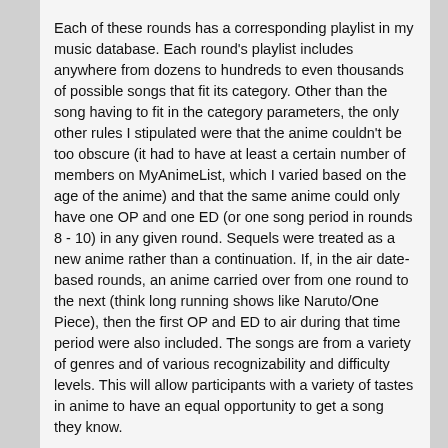Each of these rounds has a corresponding playlist in my music database. Each round's playlist includes anywhere from dozens to hundreds to even thousands of possible songs that fit its category. Other than the song having to fit in the category parameters, the only other rules I stipulated were that the anime couldn't be too obscure (it had to have at least a certain number of members on MyAnimeList, which I varied based on the age of the anime) and that the same anime could only have one OP and one ED (or one song period in rounds 8 - 10) in any given round. Sequels were treated as a new anime rather than a continuation. If, in the air date-based rounds, an anime carried over from one round to the next (think long running shows like Naruto/One Piece), then the first OP and ED to air during that time period were also included. The songs are from a variety of genres and of various recognizability and difficulty levels. This will allow participants with a variety of tastes in anime to have an equal opportunity to get a song they know.
Prior to the panel, I will select one song from each of the 12 rounds' playlists that will form the overall quiz playlist. These songs will be selected by random by shuffling the playlists. Once again, this is to increase song/anime diversity. Also, by doing it this way, I can display a slide with information on the song as well as anime it comes from at the end of the round.
Each selected song will first be played for a total of 30 seconds. The contestant who buzzes in fastest gets the first chance to answer. If a contestant buzzes in before the 15 second mark and correctly answers, they will receive 3 points. If they get the answer incorrect, other players will be given a chance to buzz in and answer. If a contestant is able to buzz in and answer correctly after the 15 second mark, they will receive 1 point. If no